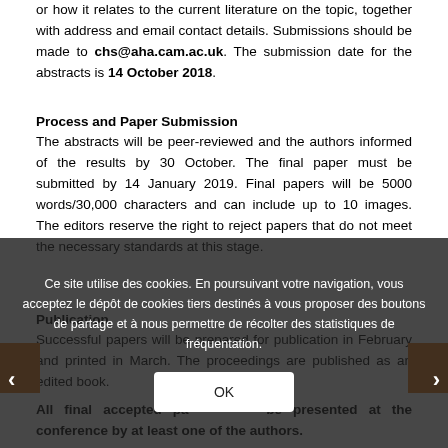or how it relates to the current literature on the topic, together with address and email contact details. Submissions should be made to chs@aha.cam.ac.uk. The submission date for the abstracts is 14 October 2018.
Process and Paper Submission
The abstracts will be peer-reviewed and the authors informed of the results by 30 October. The final paper must be submitted by 14 January 2019. Final papers will be 5000 words/30,000 characters and can include up to 10 images. The editors reserve the right to reject papers that do not meet the necessary standards at this stage.
Publication
Successful papers will be prepared for publication in February and printed in March. The proceedings are published as an edited book.
All final accepted papers must be presented at the conference by at least one of the authors.